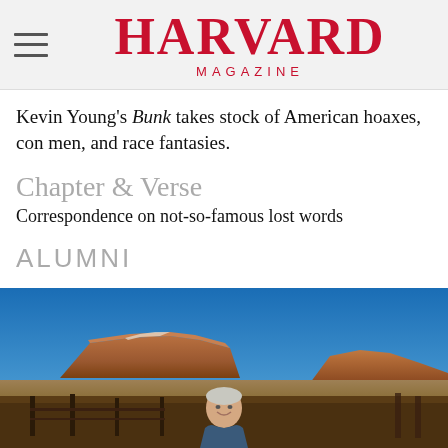HARVARD MAGAZINE
Kevin Young's Bunk takes stock of American hoaxes, con men, and race fantasies.
Chapter & Verse
Correspondence on not-so-famous lost words
ALUMNI
[Figure (photo): A man with grey/white hair smiling outdoors in front of a red rock mesa formation under a clear blue sky, with wooden fence posts in the foreground.]